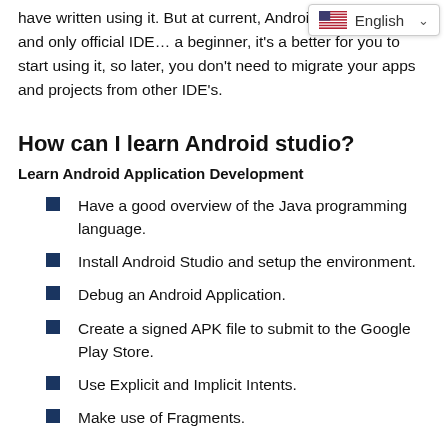have written using it. But at current, Android Studio is one and only official IDE ... a beginner, it's a better for you to start using it, so later, you don't need to migrate your apps and projects from other IDE's.
How can I learn Android studio?
Learn Android Application Development
Have a good overview of the Java programming language.
Install Android Studio and setup the environment.
Debug an Android Application.
Create a signed APK file to submit to the Google Play Store.
Use Explicit and Implicit Intents.
Make use of Fragments.